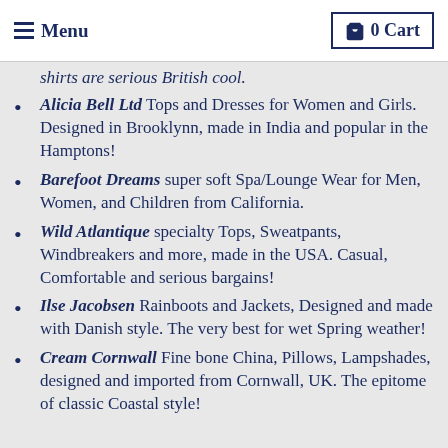Menu | 0 Cart
shirts are serious British cool.
Alicia Bell Ltd Tops and Dresses for Women and Girls. Designed in Brooklynn, made in India and popular in the Hamptons!
Barefoot Dreams super soft Spa/Lounge Wear for Men, Women, and Children from California.
Wild Atlantique specialty Tops, Sweatpants, Windbreakers and more, made in the USA. Casual, Comfortable and serious bargains!
Ilse Jacobsen Rainboots and Jackets, Designed and made with Danish style. The very best for wet Spring weather!
Cream Cornwall Fine bone China, Pillows, Lampshades, designed and imported from Cornwall, UK. The epitome of classic Coastal style!